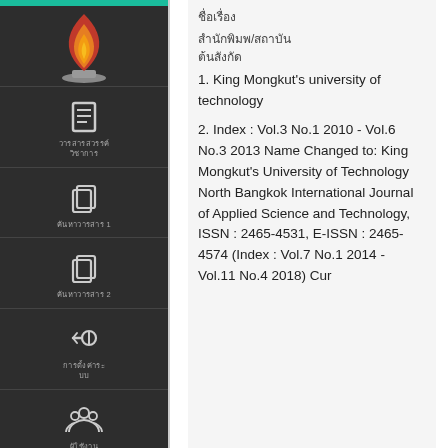[Figure (logo): University flame logo on dark sidebar]
Thai text menu item (document/journal icon)
Thai text menu item 1 (papers icon)
Thai text menu item 2 (papers icon)
Thai text menu item (wrench/settings icon)
Thai text menu item (people/group icon)
Thai title text
Thai subtitle/category text
1. King Mongkut's university of technology
2. Index : Vol.3 No.1 2010 - Vol.6 No.3 2013 Name Changed to: King Mongkut's University of Technology North Bangkok International Journal of Applied Science and Technology, ISSN : 2465-4531, E-ISSN : 2465-4574 (Index : Vol.7 No.1 2014 - Vol.11 No.4 2018) Cur